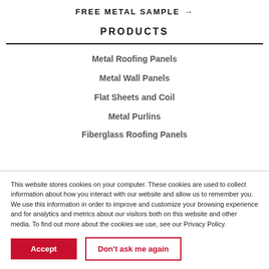FREE METAL SAMPLE →
PRODUCTS
Metal Roofing Panels
Metal Wall Panels
Flat Sheets and Coil
Metal Purlins
Fiberglass Roofing Panels
This website stores cookies on your computer. These cookies are used to collect information about how you interact with our website and allow us to remember you. We use this information in order to improve and customize your browsing experience and for analytics and metrics about our visitors both on this website and other media. To find out more about the cookies we use, see our Privacy Policy.
Accept
Don't ask me again